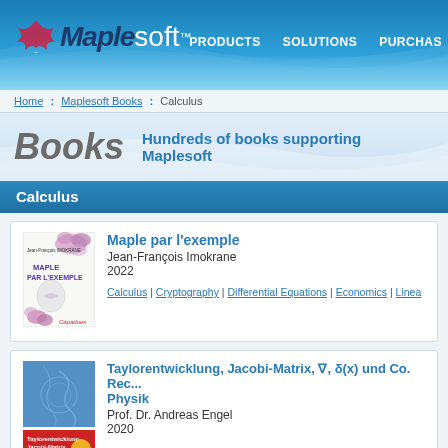Maplesoft | PRODUCTS | SOLUTIONS | PURCHASE
Home : Maplesoft Books : Calculus
Books   Hundreds of books supporting Maplesoft
Calculus
[Figure (illustration): Book cover: MAPLE PAR L'EXEMPLE by Jean-François Imokrane, Cépadues publisher, with purple floral design]
Maple par l'exemple
Jean-François Imokrane
2022
Calculus | Cryptography | Differential Equations | Economics | Linea...
[Figure (illustration): Book cover: Taylorentwicklung, Jacobi-Matrix, ∇, δ(x) und Co. — blue cover with red bottom strip]
Taylorentwicklung, Jacobi-Matrix, ∇, δ(x) und Co. Rec... Physik
Prof. Dr. Andreas Engel
2020